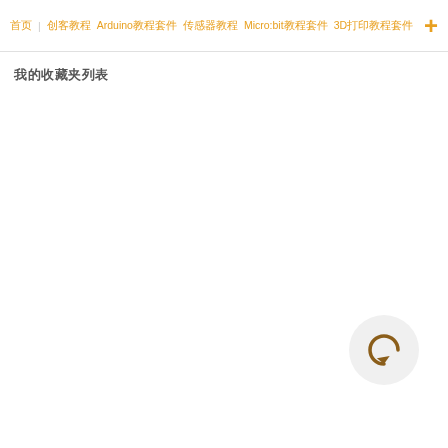首页 | 创客教程 Arduino教程套件 传感器教程 Micro:bit教程套件 3D打印教程套件
我的收藏夹列表
[Figure (illustration): Circular refresh/reload button icon with a partial circle arrow in brown/orange color on a light gray circular background]